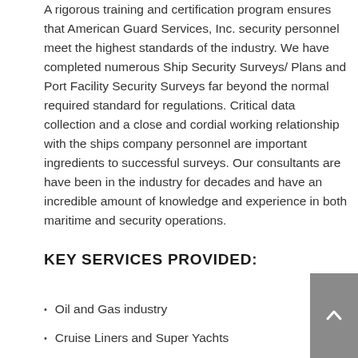A rigorous training and certification program ensures that American Guard Services, Inc. security personnel meet the highest standards of the industry. We have completed numerous Ship Security Surveys/ Plans and Port Facility Security Surveys far beyond the normal required standard for regulations. Critical data collection and a close and cordial working relationship with the ships company personnel are important ingredients to successful surveys. Our consultants are have been in the industry for decades and have an incredible amount of knowledge and experience in both maritime and security operations.
KEY SERVICES PROVIDED:
Oil and Gas industry
Cruise Liners and Super Yachts